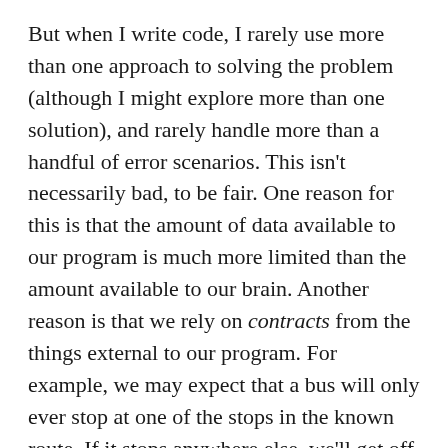But when I write code, I rarely use more than one approach to solving the problem (although I might explore more than one solution), and rarely handle more than a handful of error scenarios. This isn't necessarily bad, to be fair. One reason for this is that the amount of data available to our program is much more limited than the amount available to our brain. Another reason is that we rely on contracts from the things external to our program. For example, we may expect that a bus will only ever stop at one of the stops in the known route. If it stops anywhere else, we'll get off at the wrong stop, but it won't be "our fault"--we'll just complain to the people who own and operate the bus.